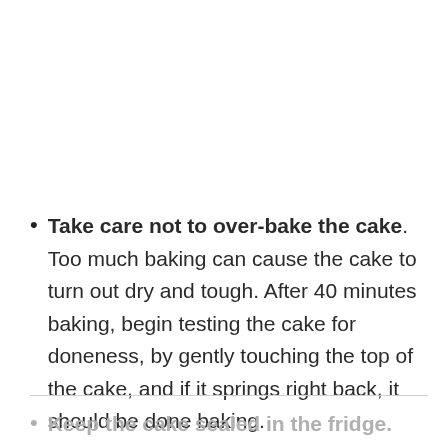Take care not to over-bake the cake. Too much baking can cause the cake to turn out dry and tough. After 40 minutes baking, begin testing the cake for doneness, by gently touching the top of the cake, and if it springs right back, it should be done baking.
Keep the cake sealed in the fridge.